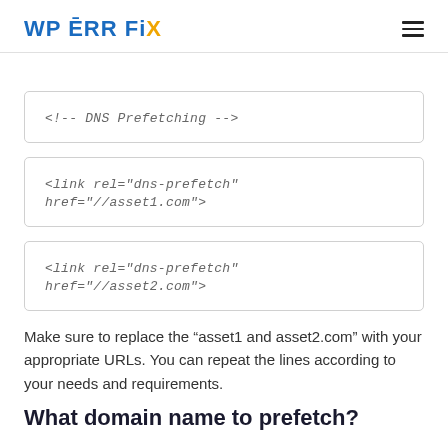WP ERR FIX
<!-- DNS Prefetching -->
<link rel="dns-prefetch" href="//asset1.com">
<link rel="dns-prefetch" href="//asset2.com">
Make sure to replace the “asset1 and asset2.com” with your appropriate URLs. You can repeat the lines according to your needs and requirements.
What domain name to prefetch?